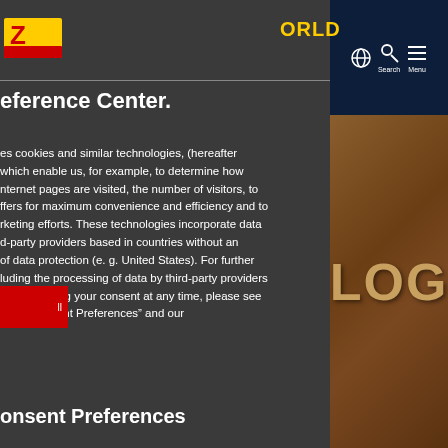[Figure (logo): DHL logo - yellow and red brand mark in top left]
ORLD
eference Center.
es cookies and similar technologies, (hereafter which enable us, for example, to determine how nternet pages are visited, the number of visitors, to ffers for maximum convenience and efficiency and to rketing efforts. These technologies incorporate data d-party providers based in countries without an of data protection (e. g. United States). For further luding the processing of data by third-party providers ity of revoking your consent at any time, please see nder “Consent Preferences” and our
[Figure (screenshot): Right panel showing DHL website navigation with globe icon, Search icon, Menu icon in dark navy header, and cork board background with LOG text below]
[Figure (other): Red button with small text]
onsent Preferences